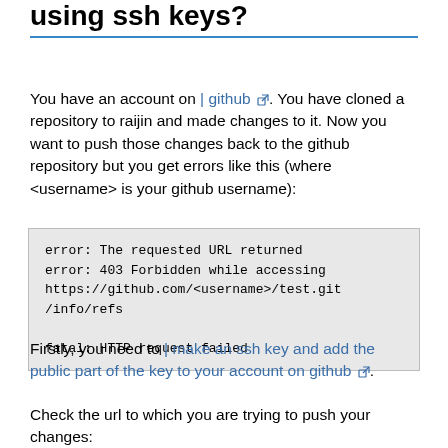using ssh keys?
You have an account on | github. You have cloned a repository to raijin and made changes to it. Now you want to push those changes back to the github repository but you get errors like this (where <username> is your github username):
error: The requested URL returned
error: 403 Forbidden while accessing
https://github.com/<username>/test.git
/info/refs

fatal: HTTP request failed
Firstly, you need to | make an ssh key and add the public part of the key to your account on github.
Check the url to which you are trying to push your changes: